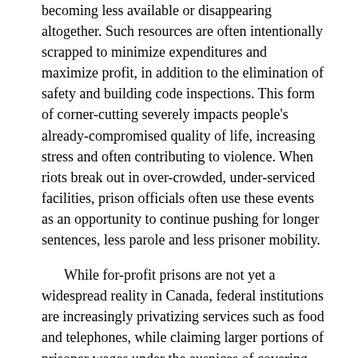becoming less available or disappearing altogether. Such resources are often intentionally scrapped to minimize expenditures and maximize profit, in addition to the elimination of safety and building code inspections. This form of corner-cutting severely impacts people's already-compromised quality of life, increasing stress and often contributing to violence. When riots break out in over-crowded, under-serviced facilities, prison officials often use these events as an opportunity to continue pushing for longer sentences, less parole and less prisoner mobility.
While for-profit prisons are not yet a widespread reality in Canada, federal institutions are increasingly privatizing services such as food and telephones, while claiming larger portions of prisoner wages under the auspices of covering prison costs. These wage cuts, which were made official last year, raised the 25 per cent that was already garnished by another 30, plus the administrative costs of phone usage. The amount which prisoners are now required to keep in their savings accounts has also been